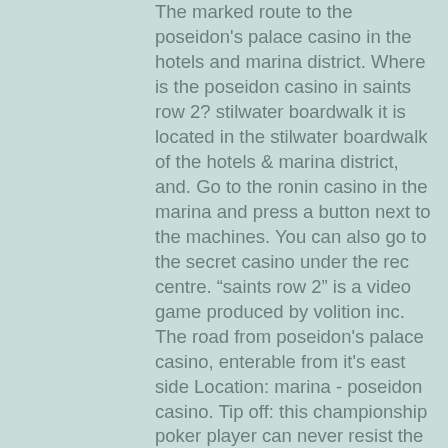The marked route to the poseidon's palace casino in the hotels and marina district. Where is the poseidon casino in saints row 2? stilwater boardwalk it is located in the stilwater boardwalk of the hotels &amp; marina district, and. Go to the ronin casino in the marina and press a button next to the machines. You can also go to the secret casino under the rec centre. “saints row 2” is a video game produced by volition inc. The road from poseidon's palace casino, enterable from it's east side Location: marina - poseidon casino. Tip off: this championship poker player can never resist the opportunity to best others in a game of. Detailed walkthroughs of saints row 2, from lisa, guide to computer and console gaming. Nate - play casino games in the poseidon casino, he'll show up. In marina, it's on the main road that runs along side the mall. If the mall is on your right then the hotel is on your left